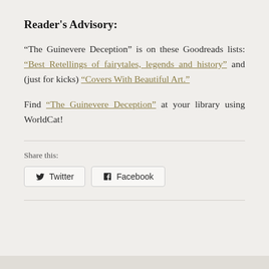Reader's Advisory:
“The Guinevere Deception” is on these Goodreads lists: “Best Retellings of fairytales, legends and history” and (just for kicks) “Covers With Beautiful Art.”
Find “The Guinevere Deception” at your library using WorldCat!
Share this:
Twitter
Facebook